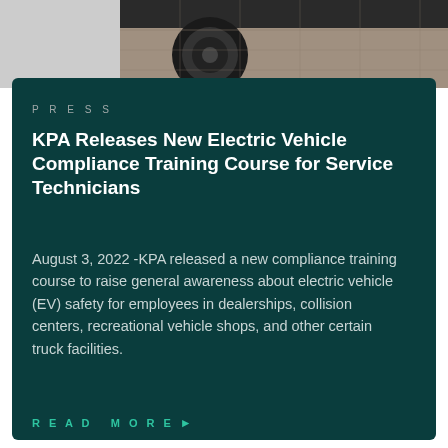[Figure (photo): Top portion of photo showing a vehicle wheel/tire on a paved surface, cropped at top of page]
PRESS
KPA Releases New Electric Vehicle Compliance Training Course for Service Technicians
August 3, 2022 -KPA released a new compliance training course to raise general awareness about electric vehicle (EV) safety for employees in dealerships, collision centers, recreational vehicle shops, and other certain truck facilities.
READ MORE ▶